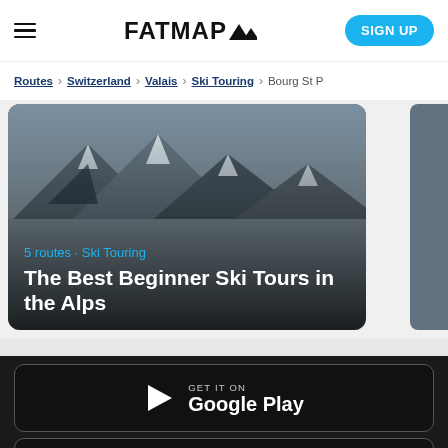FATMAP
Routes > Switzerland > Valais > Ski Touring > Bourg St P
[Figure (photo): Mountain ski touring photo with dark overlay showing '5 routes · Ski Touring' and title 'The Best Beginner Ski Tours in the Alps'. Partial second card visible on right.]
GET IT ON
Google Play
DOWNLOAD ON THE
App Sto